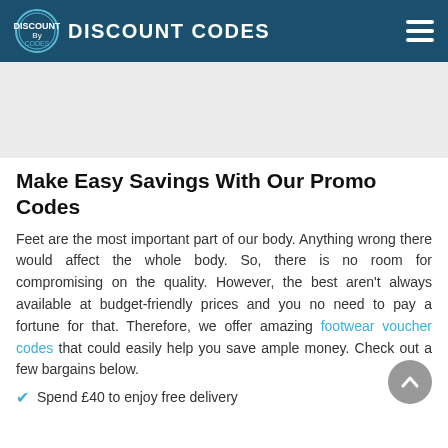BY DISCOUNT CODES
[Figure (other): Advertisement banner area (gray placeholder)]
Make Easy Savings With Our Promo Codes
Feet are the most important part of our body. Anything wrong there would affect the whole body. So, there is no room for compromising on the quality. However, the best aren't always available at budget-friendly prices and you no need to pay a fortune for that. Therefore, we offer amazing footwear voucher codes that could easily help you save ample money. Check out a few bargains below.
Spend £40 to enjoy free delivery